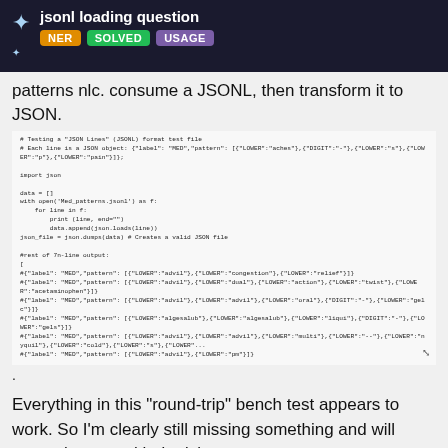jsonl loading question
patterns nlc. consume a JSONL, then transform it to JSON.
[Figure (screenshot): Code block showing Python code for testing a JSON Lines (JSONL) format test file, reading lines, appending json.loads, and printing first 7-line output with NER pattern data.]
.
Everything in this "round-trip" bench test appears to work. So I'm clearly still missing something and will appreciate your kind advice.
Installations: Python (3.8.6), spaCy (2.3.4) and Prodigy (1.10.5)